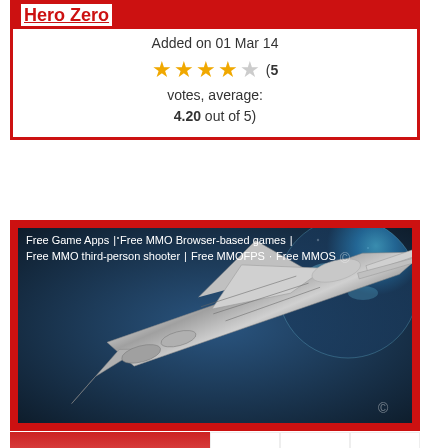Hero Zero
Added on 01 Mar 14
(5 votes, average: 4.20 out of 5)
[Figure (screenshot): A science fiction spaceship rendered in metallic silver against a space background with Earth visible, overlaid with navigation links: Free Game Apps, Free MMO Browser-based games, Free MMO third-person shooter, Free MMOFPS, Free MMOS]
[Figure (illustration): Red gradient rectangle, partial view of lower content section]